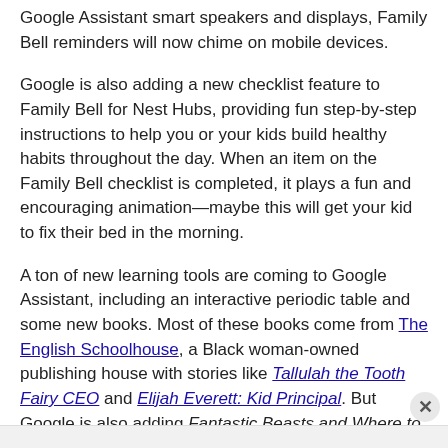Google Assistant smart speakers and displays, Family Bell reminders will now chime on mobile devices.
Google is also adding a new checklist feature to Family Bell for Nest Hubs, providing fun step-by-step instructions to help you or your kids build healthy habits throughout the day. When an item on the Family Bell checklist is completed, it plays a fun and encouraging animation—maybe this will get your kid to fix their bed in the morning.
A ton of new learning tools are coming to Google Assistant, including an interactive periodic table and some new books. Most of these books come from The English Schoolhouse, a Black woman-owned publishing house with stories like Tallulah the Tooth Fairy CEO and Elijah Everett: Kid Principal. But Google is also adding Fantastic Beasts and Where to Find Them to the